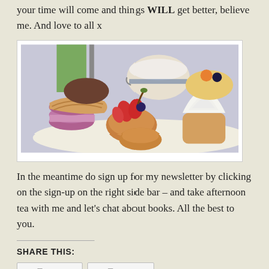your time will come and things WILL get better, believe me. And love to all x
[Figure (photo): A plate of assorted afternoon tea pastries and desserts including macarons, fruit tarts with strawberries, a cupcake with whipped cream, a madeleine, and other pastries, with a teacup visible in the background.]
In the meantime do sign up for my newsletter by clicking on the sign-up on the right side bar – and take afternoon tea with me and let's chat about books. All the best to you.
SHARE THIS: